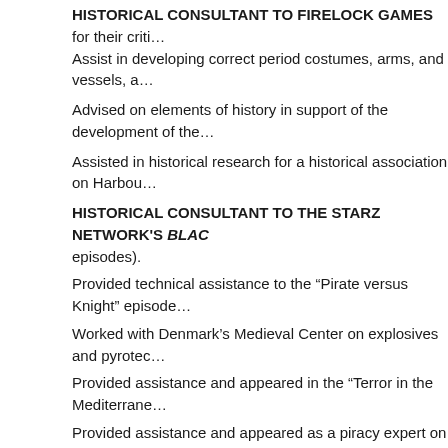HISTORICAL CONSULTANT TO FIRELOCK GAMES for their crit… Assist in developing correct period costumes, arms, and vessels, a…
Advised on elements of history in support of the development of the…
Assisted in historical research for a historical association on Harbou…
HISTORICAL CONSULTANT TO THE STARZ NETWORK'S BLAC… episodes).
Provided technical assistance to the “Pirate versus Knight” episode…
Worked with Denmark’s Medieval Center on explosives and pyrotec…
Provided assistance and appeared in the “Terror in the Mediterrane…
Provided assistance and appeared as a piracy expert on “True Carib…
Provided expertise on sea survival during the Age of Sail for the bo… Chronicle Books, 2006.)
Provided occasional technical assistance on various projects in the…
Various Lectures, Talks, Podcasts, Inter…